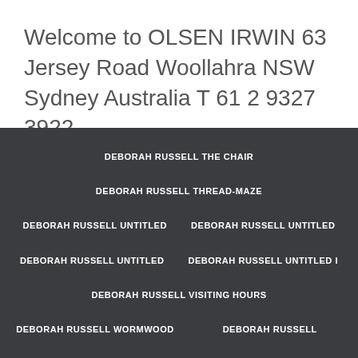Welcome to OLSEN IRWIN 63 Jersey Road Woollahra NSW Sydney Australia T 61 2 9327 3922
DEBORAH RUSSELL THE CHAIR
DEBORAH RUSSELL THREAD-MAZE
DEBORAH RUSSELL UNTITLED
DEBORAH RUSSELL UNTITLED
DEBORAH RUSSELL UNTITLED
DEBORAH RUSSELL UNTITLED I
DEBORAH RUSSELL VISITING HOURS
DEBORAH RUSSELL WORMWOOD
DEBORAH RUSSELL